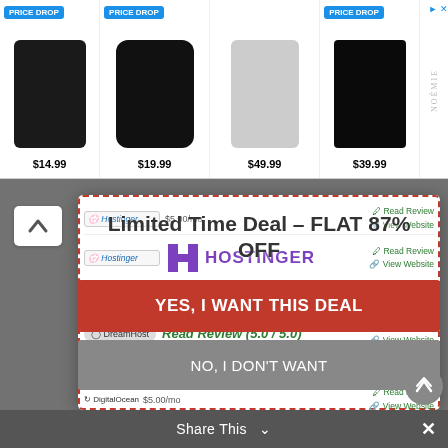[Figure (screenshot): Ad banner with four product items showing PRICE DROP badges and prices: $14.99, $19.99, $49.99, $39.99, plus Noemie brand logo]
[Figure (screenshot): Modal popup overlay with dashed red border showing hosting deal: Limited Time Deal - FLAT 87% OFF, Hostinger logo with star rating, DreamHost row, DigitalOcean row with Read Review links and View Website links]
Limited Time Deal - FLAT 87% OFF
HOSTINGER
$3.74/mo
Read Review (5.0 / 5.0)
$1.95/mo
$5.00/mo
YES, I WANT THIS DEAL
NO, I DON'T WANT
Share This